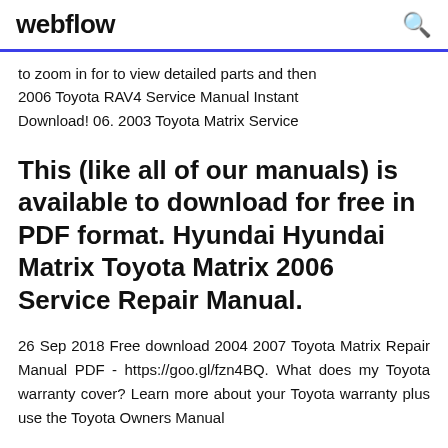webflow
to zoom in for to view detailed parts and then 2006 Toyota RAV4 Service Manual Instant Download! 06. 2003 Toyota Matrix Service
This (like all of our manuals) is available to download for free in PDF format. Hyundai Hyundai Matrix Toyota Matrix 2006 Service Repair Manual.
26 Sep 2018 Free download 2004 2007 Toyota Matrix Repair Manual PDF - https://goo.gl/fzn4BQ. What does my Toyota warranty cover? Learn more about your Toyota warranty plus use the Toyota Owners Manual